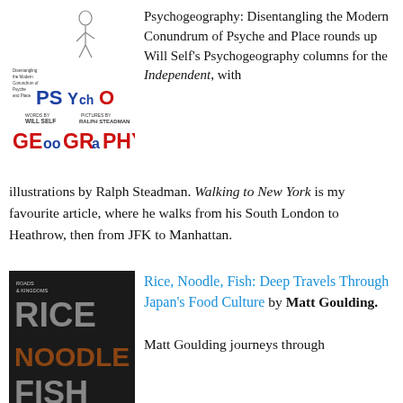[Figure (illustration): Book cover of Psychogeography by Will Self with illustrations by Ralph Steadman. Shows stylized text 'PSYchO GEooGRaPHY' in bold red and blue letters with a figure illustration at the top.]
Psychogeography: Disentangling the Modern Conundrum of Psyche and Place rounds up Will Self's Psychogeography columns for the Independent, with illustrations by Ralph Steadman. Walking to New York is my favourite article, where he walks from his South London to Heathrow, then from JFK to Manhattan.
[Figure (illustration): Book cover of Rice, Noodle, Fish: Deep Travels Through Japan's Food Culture by Matt Goulding. Dark background with large text showing RICE NOODLE FISH.]
Rice, Noodle, Fish: Deep Travels Through Japan's Food Culture by Matt Goulding.
Matt Goulding journeys through...